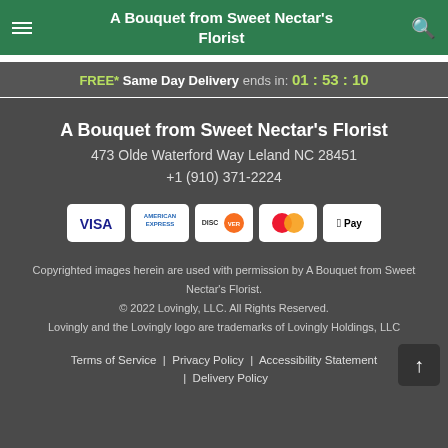A Bouquet from Sweet Nectar's Florist
FREE* Same Day Delivery ends in: 01:53:10
A Bouquet from Sweet Nectar's Florist
473 Olde Waterford Way Leland NC 28451
+1 (910) 371-2224
[Figure (infographic): Payment method icons: VISA, American Express, Discover, Mastercard, Apple Pay]
Copyrighted images herein are used with permission by A Bouquet from Sweet Nectar's Florist. © 2022 Lovingly, LLC. All Rights Reserved. Lovingly and the Lovingly logo are trademarks of Lovingly Holdings, LLC
Terms of Service | Privacy Policy | Accessibility Statement | Delivery Policy